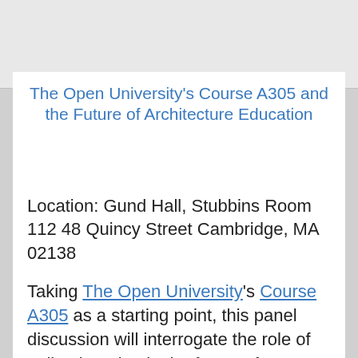The Open University's Course A305 and the Future of Architecture Education
Location: Gund Hall, Stubbins Room 112 48 Quincy Street Cambridge, MA 02138
Taking The Open University's Course A305 as a starting point, this panel discussion will interrogate the role of online learning in the future of architecture education. Participants include Lisa Haber-Thomson, K. Michael Hays,...
Feminisms Now!